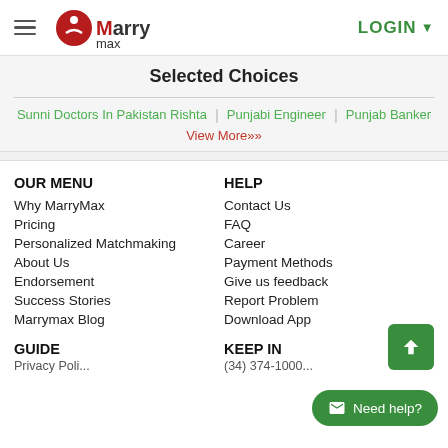MarryMax — LOGIN
Selected Choices
Sunni Doctors In Pakistan Rishta
Punjabi Engineer
Punjab Banker
View More»
OUR MENU
Why MarryMax
Pricing
Personalized Matchmaking
About Us
Endorsement
Success Stories
Marrymax Blog
HELP
Contact Us
FAQ
Career
Payment Methods
Give us feedback
Report Problem
Download App
GUIDE
KEEP IN